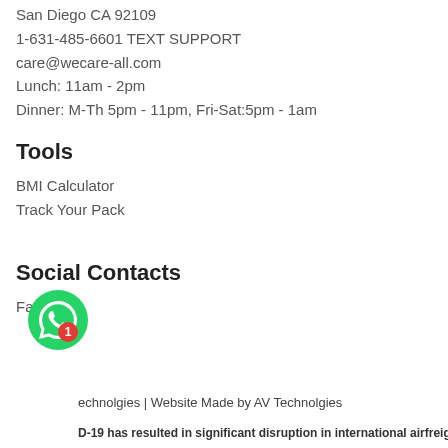San Diego CA 92109
1-631-485-6601 TEXT SUPPORT
care@wecare-all.com
Lunch: 11am - 2pm
Dinner: M-Th 5pm - 11pm, Fri-Sat:5pm - 1am
Tools
BMI Calculator
Track Your Pack
Social Contacts
Facebook
echnolgies | Website Made by AV Technolgies
D-19 has resulted in significant disruption in international airfreig